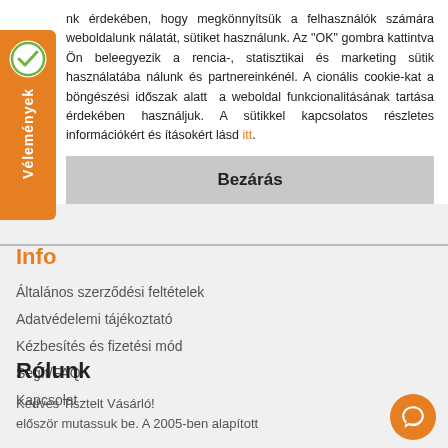nk érdekében, hogy megkönnyítsük a felhasználók számára weboldalunk nálatát, sütiket használunk. Az "OK" gombra kattintva Ön beleegyezik a rencia-, statisztikai és marketing sütik használatába nálunk és partnereinkénél. A cionális cookie-kat a böngészési időszak alatt a weboldal funkcionalitásának tartása érdekében használjuk. A sütikkel kapcsolatos részletes információkért és ításokért lásd itt.
Bezárás
Info
Általános szerződési feltételek
Adatvédelemi tájékoztató
Kézbesítés és fizetési mód
Segít/FAQ
Kapcsolat
Rólunk
Kedves Tisztelt Vásárló!
eleőször mutassuk be. A 2005-ben alapított